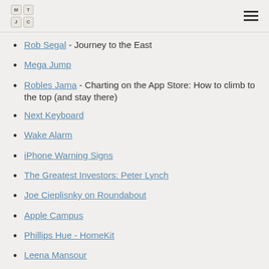MTJC logo and navigation
Rob Segal - Journey to the East
Mega Jump
Robles Jama - Charting on the App Store: How to climb to the top (and stay there)
Next Keyboard
Wake Alarm
iPhone Warning Signs
The Greatest Investors: Peter Lynch
Joe Cieplisnky on Roundabout
Apple Campus
Phillips Hue - HomeKit
Leena Mansour
Episode 68 – The Future of Swift Idioms
Greg Heo - Switching Your Mind to Swift